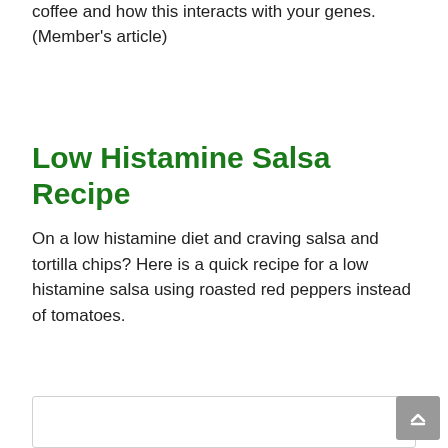coffee and how this interacts with your genes. (Member's article)
Low Histamine Salsa Recipe
On a low histamine diet and craving salsa and tortilla chips? Here is a quick recipe for a low histamine salsa using roasted red peppers instead of tomatoes.
[Figure (photo): Image box placeholder at bottom of page, partially visible]